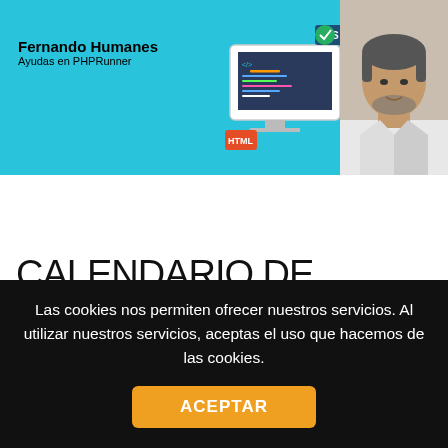[Figure (screenshot): Website header banner with cyan background, 'Fernando Humanes / Ayudas en PHPRunner' text, coding/tech illustration, and a photo of a man on the right]
Fernando Humanes
CALENDARIO DE REUNIONES (2)
VECES VISTA: 1.215
Las cookies nos permiten ofrecer nuestros servicios. Al utilizar nuestros servicios, aceptas el uso que hacemos de las cookies.
ACEPTAR